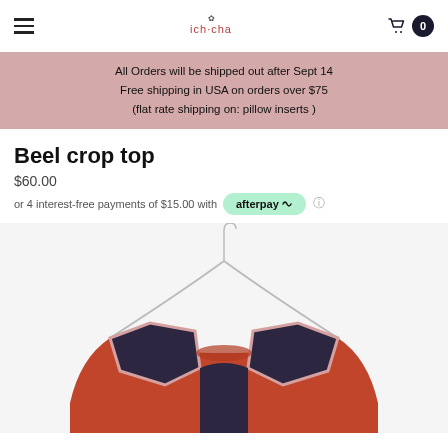ich-cha
All Orders will be shipped out after Sept 14
Free shipping in USA on orders over $75
(flat rate shipping on: pillow inserts )
Beel crop top
$60.00
or 4 interest-free payments of $15.00 with afterpay
[Figure (photo): Product photo of Beel crop top hanging on a hanger, showing the back of a red and dark navy/charcoal patterned top with geometric hexagonal shapes on the shoulders]